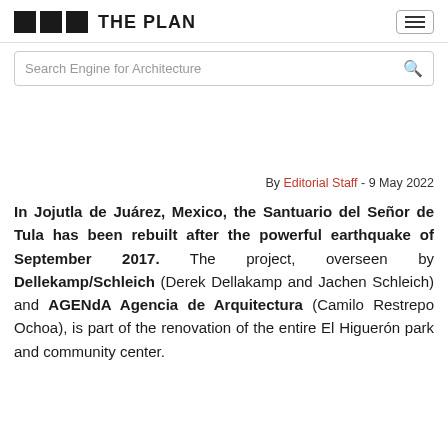THE PLAN
Search Engine for Architecture
By Editorial Staff - 9 May 2022
In Jojutla de Juárez, Mexico, the Santuario del Señor de Tula has been rebuilt after the powerful earthquake of September 2017. The project, overseen by Dellekamp/Schleich (Derek Dellakamp and Jachen Schleich) and AGENdA Agencia de Arquitectura (Camilo Restrepo Ochoa), is part of the renovation of the entire El Higuerón park and community center.